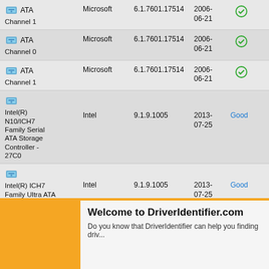ATA Channel 1 | Microsoft | 6.1.7601.17514 | 2006-06-21 | ✓
ATA Channel 0 | Microsoft | 6.1.7601.17514 | 2006-06-21 | ✓
ATA Channel 1 | Microsoft | 6.1.7601.17514 | 2006-06-21 | ✓
Intel(R) N10/ICH7 Family Serial ATA Storage Controller - 27C0 | Intel | 9.1.9.1005 | 2013-07-25 | Good
Intel(R) ICH7 Family Ultra ATA Storage Controllers - 27DF | Intel | 9.1.9.1005 | 2013-07-25 | Good
▼ HIDClass
USB Input Device | Microsoft | 6.1.7601.17514 | 2006-06-21 | ✓
USB Input Device (partial)
HID (partial)
Welcome to DriverIdentifier.com
Do you know that DriverIdentifier can help you finding driv...